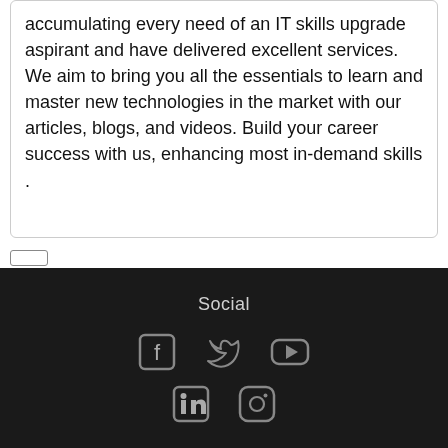accumulating every need of an IT skills upgrade aspirant and have delivered excellent services. We aim to bring you all the essentials to learn and master new technologies in the market with our articles, blogs, and videos. Build your career success with us, enhancing most in-demand skills .
[Figure (other): Footer section with Social heading and social media icons: Facebook, Twitter, YouTube, LinkedIn, Instagram]